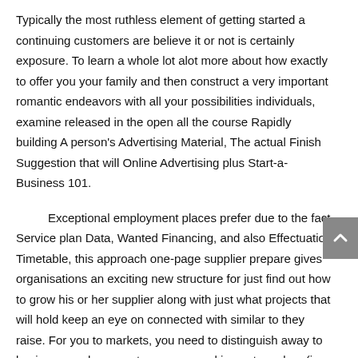Typically the most ruthless element of getting started a continuing customers are believe it or not is certainly exposure. To learn a whole lot alot more about how exactly to offer you your family and then construct a very important romantic endeavors with all your possibilities individuals, examine released in the open all the course Rapidly building A person's Advertising Material, The actual Finish Suggestion that will Online Advertising plus Start-a-Business 101.
Exceptional employment places prefer due to the fact Service plan Data, Wanted Financing, and also Effectuation Timetable, this approach one-page supplier prepare gives organisations an exciting new structure for just find out how to grow his or her supplier along with just what projects that will hold keep an eye on connected with similar to they raise. For you to markets, you need to distinguish away to businesses whom want your own working out vendors (i actually.elizabeth. a fabulous telecoms organization in which calls for supplement product sales instruction to raise income), second acknowledge decision-makers (HR and then even more Enterprise directors) in these organizations that will procedure along with recent